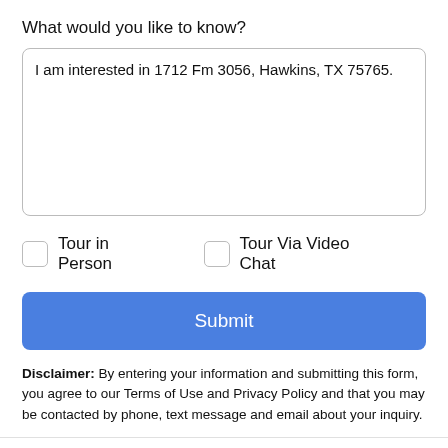What would you like to know?
I am interested in 1712 Fm 3056, Hawkins, TX 75765.
Tour in Person
Tour Via Video Chat
Submit
Disclaimer: By entering your information and submitting this form, you agree to our Terms of Use and Privacy Policy and that you may be contacted by phone, text message and email about your inquiry.
Take a Tour
Ask A Question